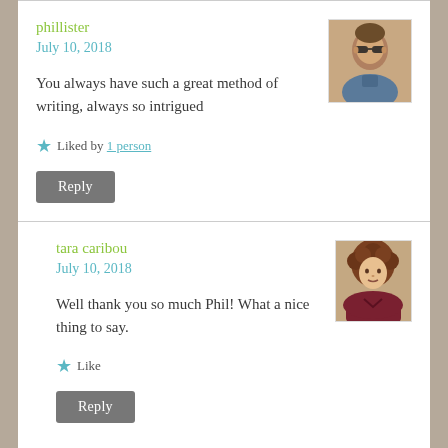phillister
July 10, 2018
[Figure (photo): Profile photo of phillister, a man wearing sunglasses]
You always have such a great method of writing, always so intrigued
Liked by 1 person
Reply
tara caribou
July 10, 2018
[Figure (photo): Profile photo of tara caribou, a woman with brown curly hair]
Well thank you so much Phil! What a nice thing to say.
Like
Reply